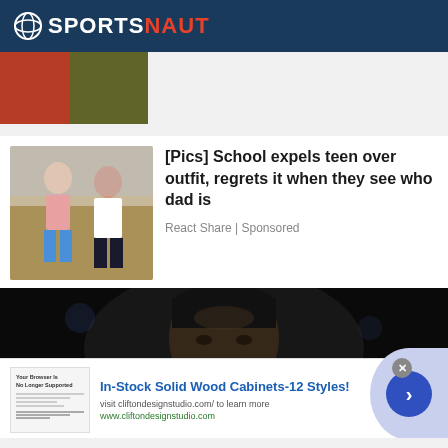SPORTSNAUT
[Figure (photo): Partial photo at top, showing a person in red]
[Figure (photo): Thumbnail photo of a teenage girl and adult man standing indoors]
[Pics] School expels teen over outfit, regrets it when they see who dad is
React Share | Sponsored
[Figure (photo): Large dark photo of a man with black head covering against dark background]
[Figure (screenshot): Advertisement: In-Stock Solid Wood Cabinets-12 Styles! visit cliftondesignstudio.com/ to learn more www.cliftondesignstudio.com]